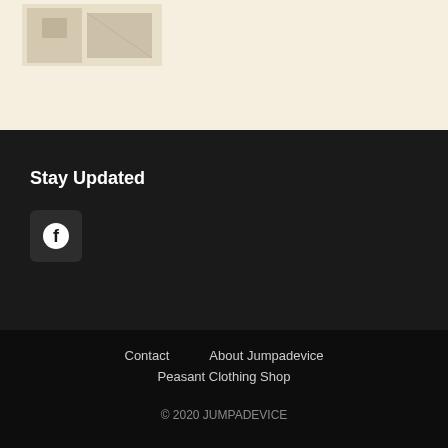[Figure (screenshot): Top section with light beige background showing partial image of what appears to be product or room photos]
Stay Updated
[Figure (logo): Facebook icon in a dark rounded square button]
Contact   About Jumpadevice   Peasant Clothing Shop   © 2020 JUMPADEVICE